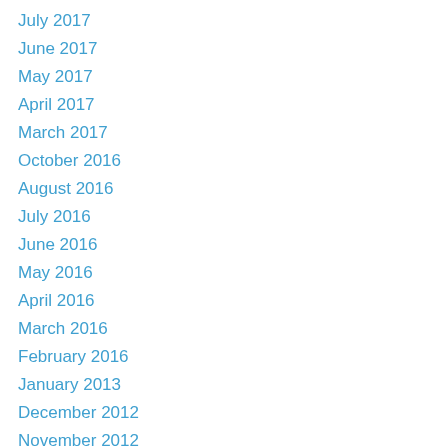July 2017
June 2017
May 2017
April 2017
March 2017
October 2016
August 2016
July 2016
June 2016
May 2016
April 2016
March 2016
February 2016
January 2013
December 2012
November 2012
October 2012
September 2012
August 2012
July 2012